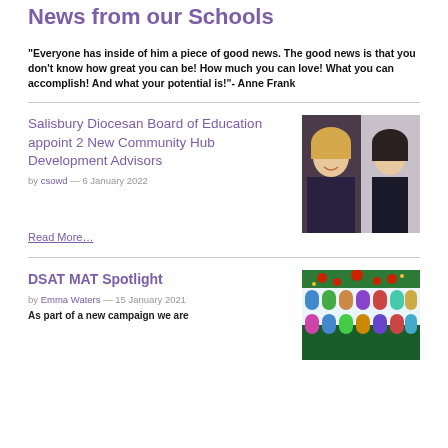News from our Schools
"Everyone has inside of him a piece of good news. The good news is that you don't know how great you can be! How much you can love! What you can accomplish! And what your potential is!"- Anne Frank
Salisbury Diocesan Board of Education appoint 2 New Community Hub Development Advisors
by csowd — 6 January 2022
[Figure (photo): Two headshot photos of women side by side]
Read More…
DSAT MAT Spotlight
by Emma Waters — 15 January 2021
[Figure (photo): Christmas themed illustration with stained glass windows and holiday decorations]
As part of a new campaign we are